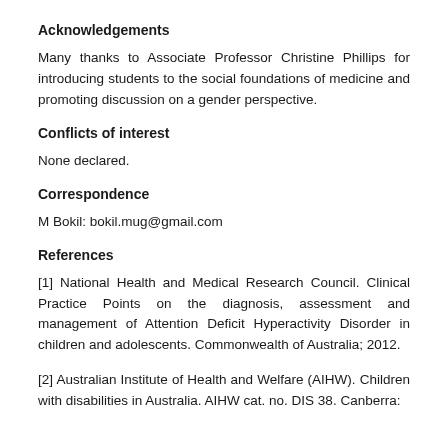Acknowledgements
Many thanks to Associate Professor Christine Phillips for introducing students to the social foundations of medicine and promoting discussion on a gender perspective.
Conflicts of interest
None declared.
Correspondence
M Bokil: bokil.mug@gmail.com
References
[1] National Health and Medical Research Council. Clinical Practice Points on the diagnosis, assessment and management of Attention Deficit Hyperactivity Disorder in children and adolescents. Commonwealth of Australia; 2012.
[2] Australian Institute of Health and Welfare (AIHW). Children with disabilities in Australia. AIHW cat. no. DIS 38. Canberra: